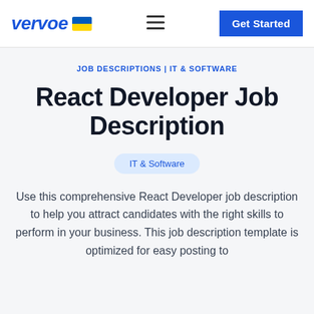vervoe | Get Started
JOB DESCRIPTIONS | IT & SOFTWARE
React Developer Job Description
IT & Software
Use this comprehensive React Developer job description to help you attract candidates with the right skills to perform in your business. This job description template is optimized for easy posting to